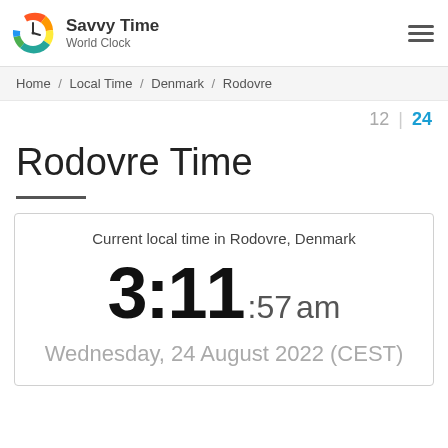Savvy Time World Clock
Home / Local Time / Denmark / Rodovre
12 | 24
Rodovre Time
Current local time in Rodovre, Denmark
3:11 :57 am
Wednesday, 24 August 2022 (CEST)